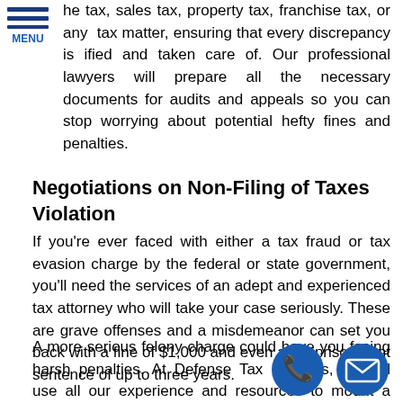he tax, sales tax, property tax, franchise tax, or any tax matter, ensuring that every discrepancy is ified and taken care of. Our professional lawyers will prepare all the necessary documents for audits and appeals so you can stop worrying about potential hefty fines and penalties.
Negotiations on Non-Filing of Taxes Violation
If you're ever faced with either a tax fraud or tax evasion charge by the federal or state government, you'll need the services of an adept and experienced tax attorney who will take your case seriously. These are grave offenses and a misdemeanor can set you back with a fine of $1,000 and even an imprisonment sentence of up to three years.
A more serious felony charge could have you facing harsh penalties. At Defense Tax Partners, we will use all our experience and resources to mount a vigorous defense for you. Normally, tax evasion charges can be defended for a number of reasons including: